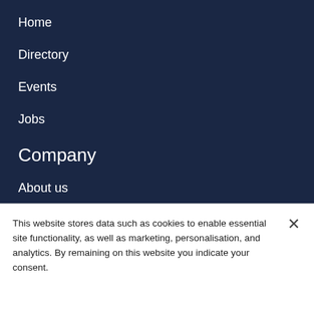Home
Directory
Events
Jobs
Company
About us
Contact
FAQ
Publications
This website stores data such as cookies to enable essential site functionality, as well as marketing, personalisation, and analytics. By remaining on this website you indicate your consent.